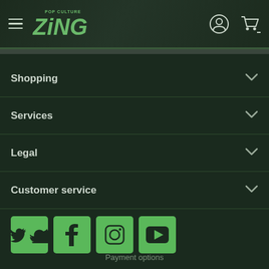Zing Pop Culture - header with hamburger menu, logo, user icon, cart icon
Shopping
Services
Legal
Customer service
[Figure (other): Social media icons: Twitter, Facebook, Instagram, YouTube - green square buttons]
Payment options